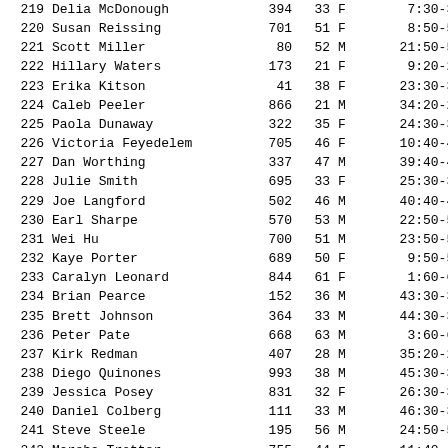| Rank | Name | Bib | Age | Sex | Time/Category |
| --- | --- | --- | --- | --- | --- |
| 219 | Delia McDonough | 394 | 33 | F | 7:30-39 |
| 220 | Susan Reissing | 701 | 51 | F | 8:50-59 |
| 221 | Scott Miller | 80 | 52 | M | 21:50-59 |
| 222 | Hillary Waters | 173 | 21 | F | 9:20-29 |
| 223 | Erika Kitson | 41 | 38 | F | 23:30-39 |
| 224 | Caleb Peeler | 866 | 21 | M | 34:20-29 |
| 225 | Paola Dunaway | 322 | 35 | F | 24:30-39 |
| 226 | Victoria Feyedelem | 705 | 46 | F | 10:40-49 |
| 227 | Dan Worthing | 337 | 47 | M | 39:40-49 |
| 228 | Julie Smith | 695 | 33 | F | 25:30-39 |
| 229 | Joe Langford | 502 | 46 | M | 40:40-49 |
| 230 | Earl Sharpe | 570 | 53 | M | 22:50-59 |
| 231 | Wei Hu | 700 | 51 | M | 23:50-59 |
| 232 | Kaye Porter | 689 | 50 | F | 9:50-59 |
| 233 | Caralyn Leonard | 844 | 61 | F | 1:60-69 |
| 234 | Brian Pearce | 152 | 36 | M | 43:30-39 |
| 235 | Brett Johnson | 364 | 33 | M | 44:30-39 |
| 236 | Peter Pate | 668 | 63 | M | 3:60-69 |
| 237 | Kirk Redman | 407 | 28 | M | 35:20-29 |
| 238 | Diego Quinones | 993 | 38 | M | 45:30-39 |
| 239 | Jessica Posey | 831 | 32 | F | 26:30-39 |
| 240 | Daniel Colberg | 111 | 33 | M | 46:30-39 |
| 241 | Steve Steele | 195 | 56 | M | 24:50-59 |
| 242 | Marsha Trotter | 755 | 44 | F | 11:40-49 |
| 243 | Ryan Baptiste | 857 | 23 | M | 36:20-29 |
| 244 | Roy Harris | 482 | 47 | M | 41:40-49 |
| 245 | David Jones | 139 | 40 | M | 42:40-49 |
| 246 | Kim Degonia | 748 | 50 | F | 10:50-59 |
| 247 | Sam Sloan | 855 | 14 | M | 7: 1-14 |
| 248 | Tracy Taunton | 479 | 47 | M | 43:40-49 |
| 249 | Evan Hinson | 975 | 24 | M | 37:20-29 |
| 250 | Bobby Poer | 69 | 45 | M | 44:40-49 |
| 251 | Stephanie Philpot | 492 | 35 | F | 10:20-39 |